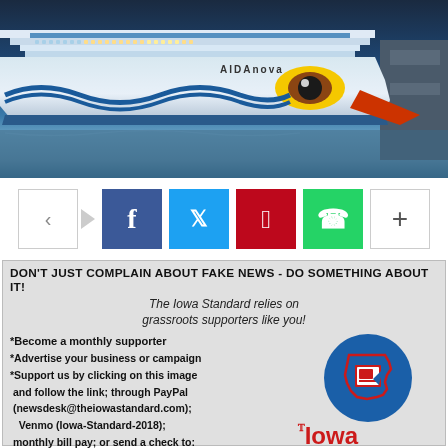[Figure (photo): AIDAnova cruise ship docked at night, with distinctive eye and wave design on hull, blue lighting on upper decks]
[Figure (infographic): Social media share bar with share icon, Facebook (blue), Twitter (cyan), Pinterest (red), WhatsApp (green), and plus buttons]
[Figure (infographic): Iowa Standard newspaper advertisement: headline 'DON'T JUST COMPLAIN ABOUT FAKE NEWS - DO SOMETHING ABOUT IT!' with text about supporting The Iowa Standard, Iowa map logo, and Iowa Standard logo with tagline 'NEWS WITH A HIGHER STANDARD IN MIND']